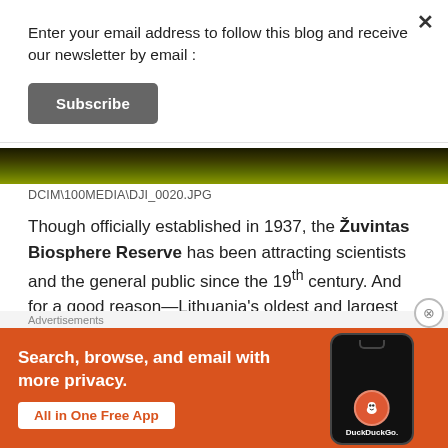Enter your email address to follow this blog and receive our newsletter by email :
Subscribe
[Figure (photo): Dark aerial nature photo strip showing green/yellow foliage from above]
DCIM\100MEDIA\DJI_0020.JPG
Though officially established in 1937, the Žuvintas Biosphere Reserve has been attracting scientists and the general public since the 19th century. And for a good reason—Lithuania's oldest and largest reserve is home to
[Figure (infographic): DuckDuckGo advertisement banner: orange background with text 'Search, browse, and email with more privacy. All in One Free App' and phone mockup with DuckDuckGo logo]